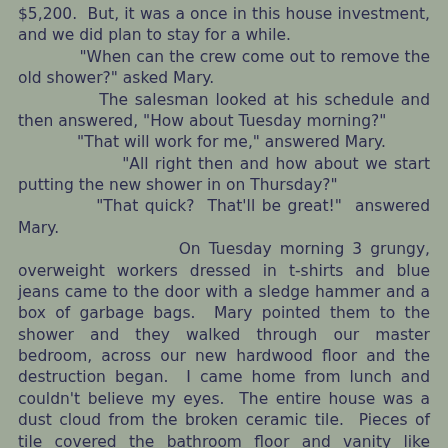$5,200.  But, it was a once in this house investment, and we did plan to stay for a while.
	"When can the crew come out to remove the old shower?" asked Mary.
	The salesman looked at his schedule and then answered, "How about Tuesday morning?"
	"That will work for me," answered Mary.
	"All right then and how about we start putting the new shower in on Thursday?"
	"That quick?  That'll be great!"  answered Mary.
		On Tuesday morning 3 grungy, overweight workers dressed in t-shirts and blue jeans came to the door with a sledge hammer and a box of garbage bags.  Mary pointed them to the shower and they walked through our master bedroom, across our new hardwood floor and the destruction began.  I came home from lunch and couldn't believe my eyes.  The entire house was a dust cloud from the broken ceramic tile.  Pieces of tile covered the bathroom floor and vanity like shrapnel.  And then there was my new hardwood floor.  There were shards of tile all over it that had apparently leaked from the garbage bags that the crew was dragging across it.  It was an absolute nightmare!  And then instead of cleaning up the pieces, they walked over them